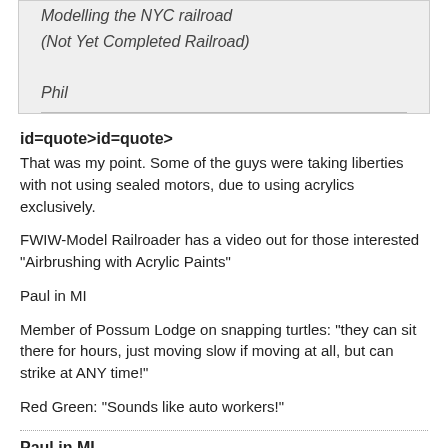Modelling the NYC railroad
(Not Yet Completed Railroad)
Phil
id=quote>id=quote>
That was my point. Some of the guys were taking liberties with not using sealed motors, due to using acrylics exclusively.
FWIW-Model Railroader has a video out for those interested "Airbrushing with Acrylic Paints"
Paul in MI
Member of Possum Lodge on snapping turtles: "they can sit there for hours, just moving slow if moving at all, but can strike at ANY time!"
Red Green: "Sounds like auto workers!"
Paul in MI